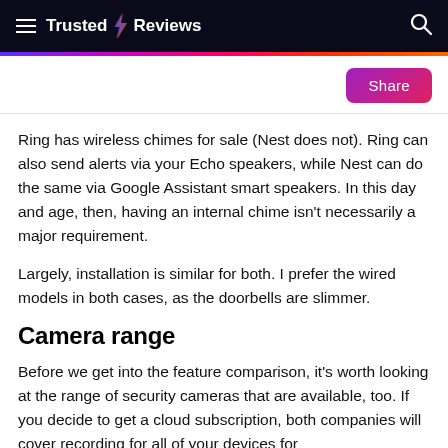Trusted Reviews
Ring has wireless chimes for sale (Nest does not). Ring can also send alerts via your Echo speakers, while Nest can do the same via Google Assistant smart speakers. In this day and age, then, having an internal chime isn't necessarily a major requirement.
Largely, installation is similar for both. I prefer the wired models in both cases, as the doorbells are slimmer.
Camera range
Before we get into the feature comparison, it's worth looking at the range of security cameras that are available, too. If you decide to get a cloud subscription, both companies will cover recording for all of your devices for